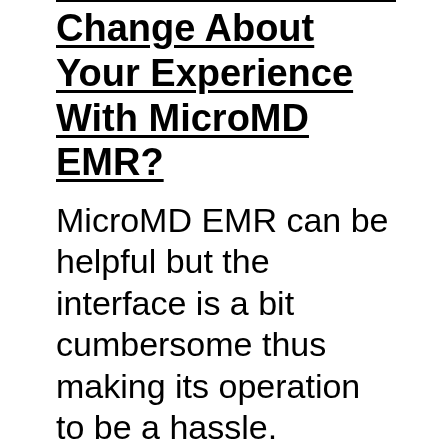Change About Your Experience With MicroMD EMR?
MicroMD EMR can be helpful but the interface is a bit cumbersome thus making its operation to be a hassle. Compatibility is another challenge. Although it might not